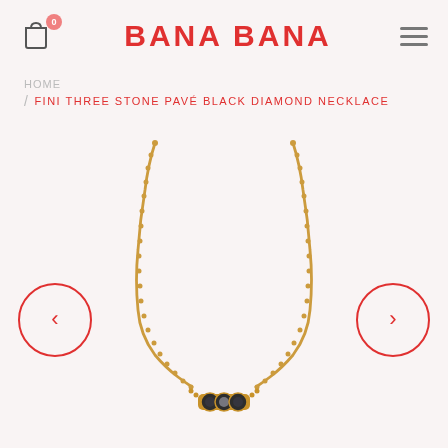BANA BANA
HOME / FINI THREE STONE PAVÉ BLACK DIAMOND NECKLACE
[Figure (photo): Gold chain necklace with three black diamond pavé stones at center pendant, displayed on white background with red circle navigation arrows on left and right sides]